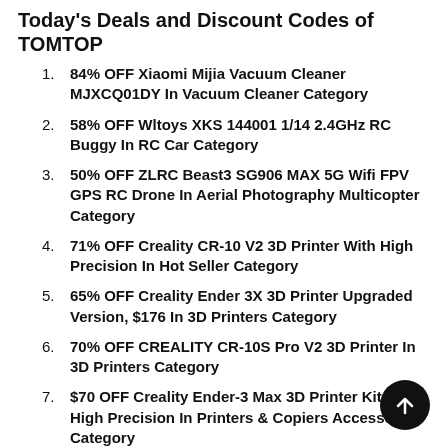Today's Deals and Discount Codes of TOMTOP
84% OFF Xiaomi Mijia Vacuum Cleaner MJXCQ01DY In Vacuum Cleaner Category
58% OFF Wltoys XKS 144001 1/14 2.4GHz RC Buggy In RC Car Category
50% OFF ZLRC Beast3 SG906 MAX 5G Wifi FPV GPS RC Drone In Aerial Photography Multicopter Category
71% OFF Creality CR-10 V2 3D Printer With High Precision In Hot Seller Category
65% OFF Creality Ender 3X 3D Printer Upgraded Version, $176 In 3D Printers Category
70% OFF CREALITY CR-10S Pro V2 3D Printer In 3D Printers Category
$70 OFF Creality Ender-3 Max 3D Printer Kit with High Precision In Printers & Copiers Accessories Category
80% OFF Xiaomi Mijia G1 Robot Vacuum Cleaner MJSTG1 In Vacuum Cleaner Category
$436.35 BAICYCLE Smart 2.0 12 Inch Collapsible